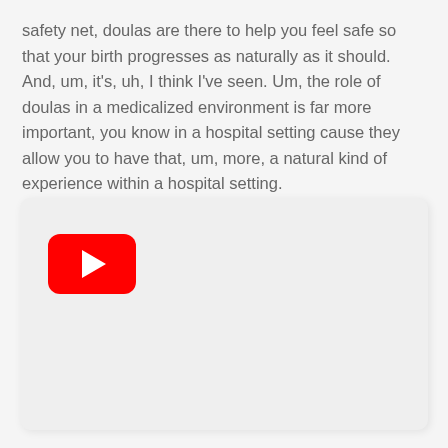safety net, doulas are there to help you feel safe so that your birth progresses as naturally as it should. And, um, it's, uh, I think I've seen. Um, the role of doulas in a medicalized environment is far more important, you know in a hospital setting cause they allow you to have that, um, more, a natural kind of experience within a hospital setting.
[Figure (screenshot): Embedded YouTube video player placeholder showing red YouTube play button icon on a light gray background]